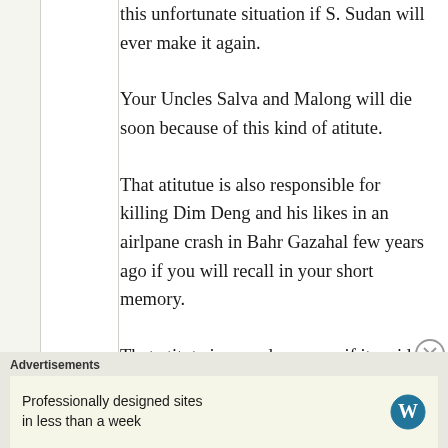this unfortunate situation if S. Sudan will ever make it again.
Your Uncles Salva and Malong will die soon because of this kind of atitute.
That atitutue is also responsible for killing Dim Deng and his likes in an airlpane crash in Bahr Gazahal few years ago if you will recall in your short memory.
That atitute is very dangerous if it resides in your mind – it will surely
Advertisements
Professionally designed sites in less than a week